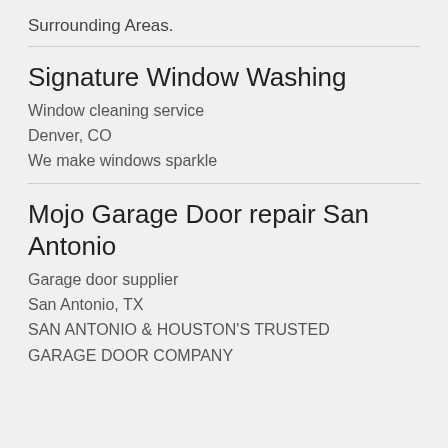Surrounding Areas.
Signature Window Washing
Window cleaning service
Denver, CO
We make windows sparkle
Mojo Garage Door repair San Antonio
Garage door supplier
San Antonio, TX
SAN ANTONIO & HOUSTON'S TRUSTED GARAGE DOOR COMPANY